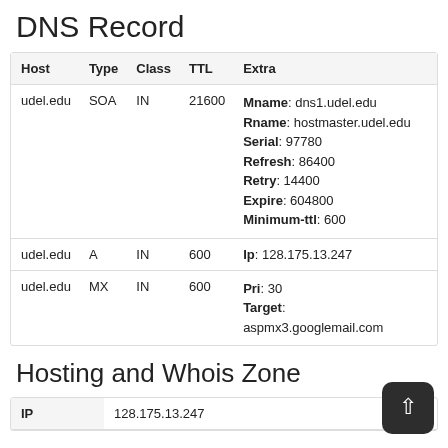DNS Record
| Host | Type | Class | TTL | Extra |
| --- | --- | --- | --- | --- |
| udel.edu | SOA | IN | 21600 | Mname: dns1.udel.edu
Rname: hostmaster.udel.edu
Serial: 97780
Refresh: 86400
Retry: 14400
Expire: 604800
Minimum-ttl: 600 |
| udel.edu | A | IN | 600 | Ip: 128.175.13.247 |
| udel.edu | MX | IN | 600 | Pri: 30
Target: aspmx3.googlemail.com |
Hosting and Whois Zone
| IP |  |
| --- | --- |
| IP | 128.175.13.247 |